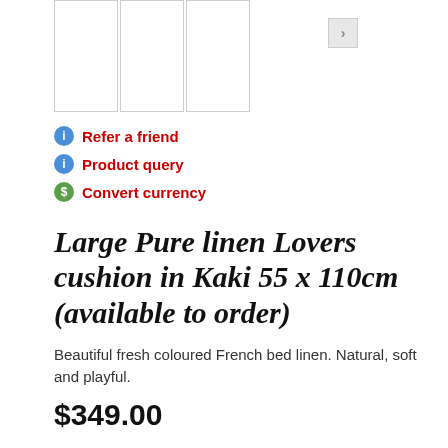[Figure (other): Row of product thumbnail images with a right navigation arrow button]
Refer a friend
Product query
Convert currency
Large Pure linen Lovers cushion in Kaki 55 x 110cm (available to order)
Beautiful fresh coloured French bed linen. Natural, soft and playful.
$349.00